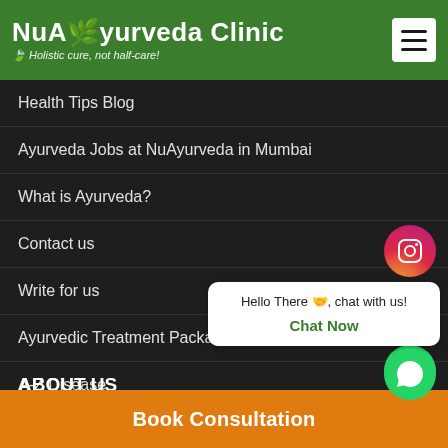NuAyurveda Clinic - Holistic cure, not half-care!
Health Tips Blog
Ayurveda Jobs at NuAyurveda in Mumbai
What is Ayurveda?
Contact us
Write for us
Ayurvedic Treatment Packages and Pricing
A-Z Disease
ABOUT US
NuAyurveda Clinic - Sage Ayurveda is a specialized chain of Ayurvedic clinics that blends science with tradition by bringing contemporary resear
[Figure (other): Instagram social media icon - circular gradient button]
[Figure (other): Facebook social media icon - blue circular button]
[Figure (other): WhatsApp social media icon - green circular button]
Hello There 🤝, chat with us! Chat Now
[Figure (other): WhatsApp chat bot floating button in green]